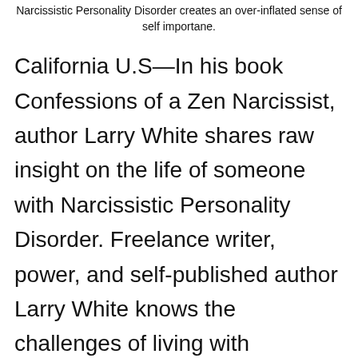Narcissistic Personality Disorder creates an over-inflated sense of self importane.
California U.S—In his book Confessions of a Zen Narcissist, author Larry White shares raw insight on the life of someone with Narcissistic Personality Disorder. Freelance writer, power, and self-published author Larry White knows the challenges of living with Narcissistic Personality Disorder, as he identifies in his book Confessions of a Zen Narcissist.  It is a… Continue reading